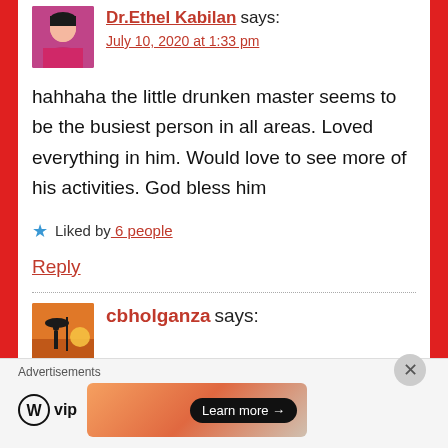Dr.Ethel Kabilan says:
July 10, 2020 at 1:33 pm
hahhaha the little drunken master seems to be the busiest person in all areas. Loved everything in him. Would love to see more of his activities. God bless him
Liked by 6 people
Reply
cbholganza says:
Advertisements
[Figure (logo): WordPress VIP logo with circle W icon]
[Figure (illustration): Advertisement banner with gradient orange/peach background and Learn more button]